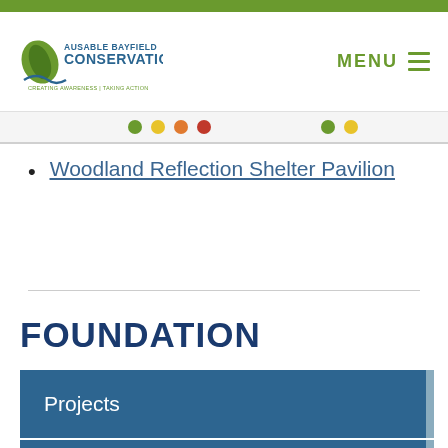Ausable Bayfield Conservation — MENU
Woodland Reflection Shelter Pavilion
FOUNDATION
Projects